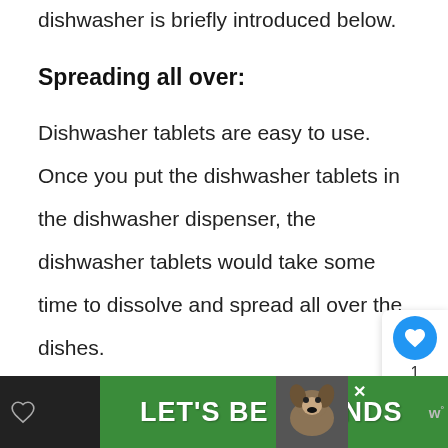dishwasher is briefly introduced below.
Spreading all over:
Dishwasher tablets are easy to use. Once you put the dishwasher tablets in the dishwasher dispenser, the dishwasher tablets would take some time to dissolve and spread all over the dishes.
[Figure (other): Advertisement banner at bottom: dark background with green section reading LET'S BE FRIENDS with dog image and close button]
[Figure (other): Social media sidebar with blue heart/like button showing count 1, and a share button below it]